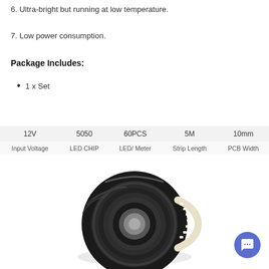6. Ultra-bright but running at low temperature.
7. Low power consumption.
Package Includes:
1 x Set
| 12V | 5050 | 60PCS | 5M | 10mm |
| --- | --- | --- | --- | --- |
| Input Voltage | LED CHIP | LED/ Meter | Strip Length | PCB Width |
[Figure (photo): A coiled reel of LED strip light (5050 type) wound on a black spool, showing white LEDs on a white/black PCB strip.]